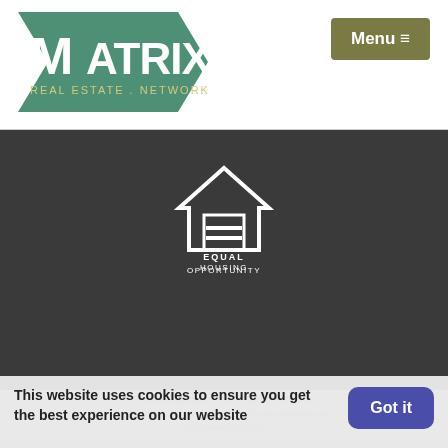[Figure (logo): Matrix Real Estate Network logo with teal/green stylized text and arrow design]
Menu ≡
[Figure (logo): Equal Housing Opportunity logo - white house outline with equals sign, text reading EQUAL HOUSING OPPORTUNITY]
Portions Copyright © 2022 Pipeline ROI, LLC.
This website uses cookies to ensure you get the best experience on our website
Got it